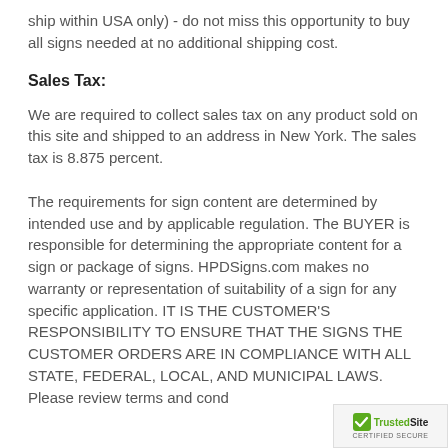ship within USA only) - do not miss this opportunity to buy all signs needed at no additional shipping cost.
Sales Tax:
We are required to collect sales tax on any product sold on this site and shipped to an address in New York. The sales tax is 8.875 percent.
The requirements for sign content are determined by intended use and by applicable regulation. The BUYER is responsible for determining the appropriate content for a sign or package of signs. HPDSigns.com makes no warranty or representation of suitability of a sign for any specific application. IT IS THE CUSTOMER'S RESPONSIBILITY TO ENSURE THAT THE SIGNS THE CUSTOMER ORDERS ARE IN COMPLIANCE WITH ALL STATE, FEDERAL, LOCAL, AND MUNICIPAL LAWS. Please review terms and cond
[Figure (logo): TrustedSite Certified Secure badge with green checkmark]